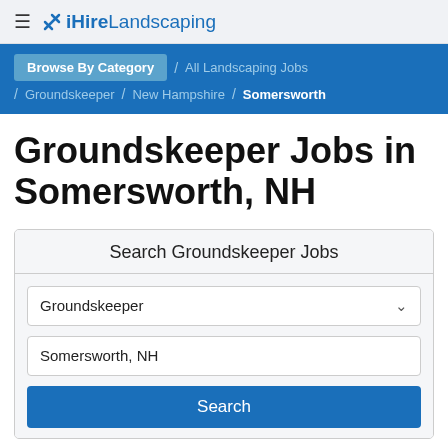iHireLandscaping
Browse By Category / All Landscaping Jobs / Groundskeeper / New Hampshire / Somersworth
Groundskeeper Jobs in Somersworth, NH
Search Groundskeeper Jobs
Groundskeeper
Somersworth, NH
Search